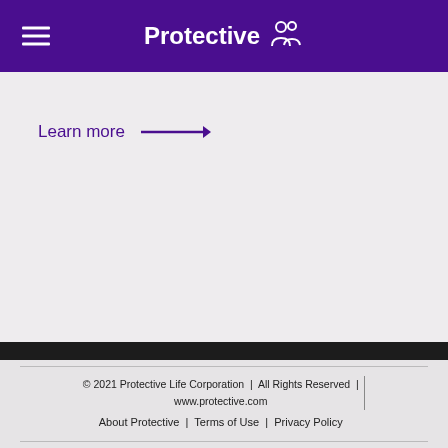Protective
Learn more →
© 2021 Protective Life Corporation | All Rights Reserved | www.protective.com
About Protective | Terms of Use | Privacy Policy